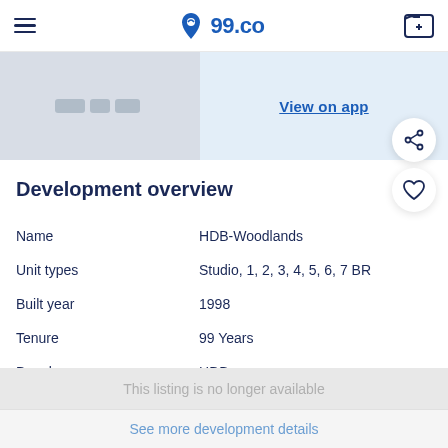99.co
[Figure (screenshot): Blurred property image strip and 'View on app' button area]
Development overview
| Name | HDB-Woodlands |
| Unit types | Studio, 1, 2, 3, 4, 5, 6, 7 BR |
| Built year | 1998 |
| Tenure | 99 Years |
| Developer | HDB |
| Neighbourhood | Woodlands |
This listing is no longer available
See more development details